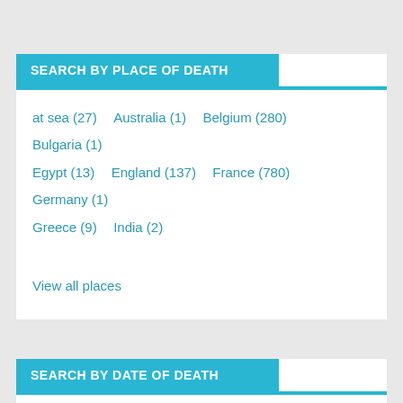SEARCH BY PLACE OF DEATH
at sea (27)
Australia (1)
Belgium (280)
Bulgaria (1)
Egypt (13)
England (137)
France (780)
Germany (1)
Greece (9)
India (2)
View all places
SEARCH BY DATE OF DEATH
Single year: [dropdown]
Between: [dropdown] and [dropdown]
Search